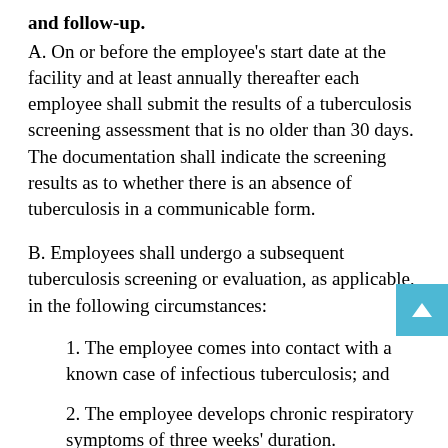and follow-up.
A. On or before the employee's start date at the facility and at least annually thereafter each employee shall submit the results of a tuberculosis screening assessment that is no older than 30 days. The documentation shall indicate the screening results as to whether there is an absence of tuberculosis in a communicable form.
B. Employees shall undergo a subsequent tuberculosis screening or evaluation, as applicable, in the following circumstances:
1. The employee comes into contact with a known case of infectious tuberculosis; and
2. The employee develops chronic respiratory symptoms of three weeks' duration.
C. Employees suspected of having tuberculosis in a communicable form shall not be permitted to return to work or have contact with staff or residents until a